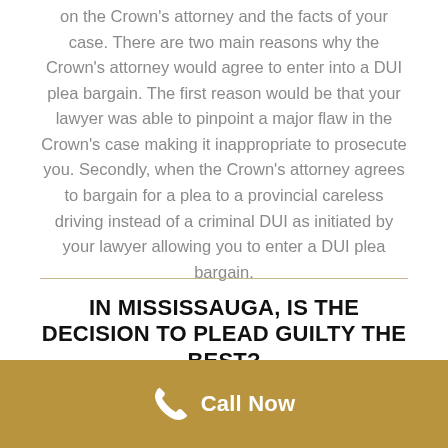The decision to enter into a DUI plea bargain will depend on the Crown's attorney and the facts of your case. There are two main reasons why the Crown's attorney would agree to enter into a DUI plea bargain. The first reason would be that your lawyer was able to pinpoint a major flaw in the Crown's case making it inappropriate to prosecute you. Secondly, when the Crown's attorney agrees to bargain for a plea to a provincial careless driving instead of a criminal DUI as initiated by your lawyer allowing you to enter a DUI plea bargain.
IN MISSISSAUGA, IS THE DECISION TO PLEAD GUILTY THE BEST?
Call Now